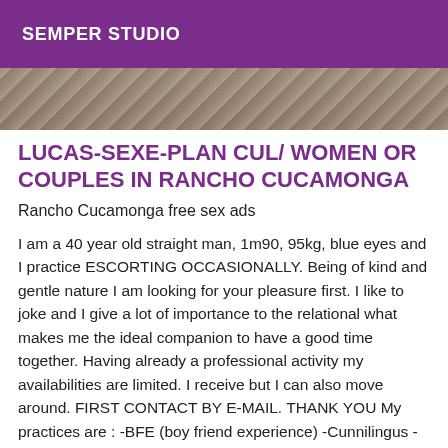SEMPER STUDIO
[Figure (photo): Partial photo strip showing a textured surface, cropped at bottom of header area]
LUCAS-SEXE-PLAN CUL/ WOMEN OR COUPLES IN RANCHO CUCAMONGA
Rancho Cucamonga free sex ads
I am a 40 year old straight man, 1m90, 95kg, blue eyes and I practice ESCORTING OCCASIONALLY. Being of kind and gentle nature I am looking for your pleasure first. I like to joke and I give a lot of importance to the relational what makes me the ideal companion to have a good time together. Having already a professional activity my availabilities are limited. I receive but I can also move around. FIRST CONTACT BY E-MAIL. THANK YOU My practices are : -BFE (boy friend experience) -Cunnilingus -Caresses and french kiss -Blowjob (receiver and for the most greedy) -Protected vaginal intercourse in all positions -anal (donor). My rates are +1h 150cts 2h 250roses 3h 350roses 4h